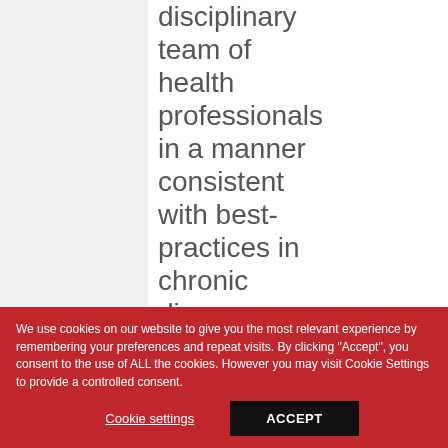disciplinary team of health professionals in a manner consistent with best-practices in chronic disease management are most
We use cookies on our website to give you the most relevant experience by remembering your preferences and repeat visits. By clicking "Accept", you consent to the use of ALL the cookies. However you may visit Cookie Settings to provide a controlled consent.